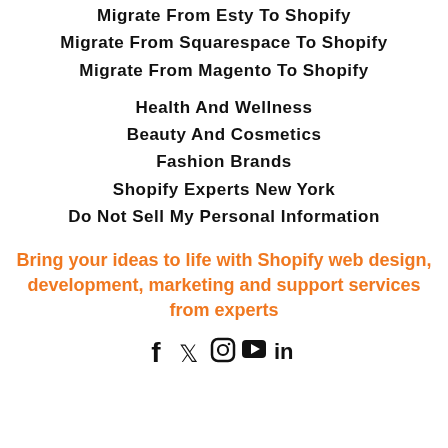Migrate From Esty To Shopify
Migrate From Squarespace To Shopify
Migrate From Magento To Shopify
Health And Wellness
Beauty And Cosmetics
Fashion Brands
Shopify Experts New York
Do Not Sell My Personal Information
Bring your ideas to life with Shopify web design, development, marketing and support services from experts
[Figure (infographic): Social media icons: Facebook, Twitter, Instagram, YouTube, LinkedIn]